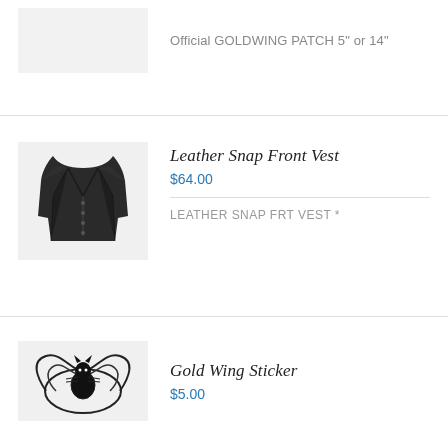[Figure (photo): Light gray placeholder/product image box at top]
Official GOLDWING PATCH 5" or 14"
[Figure (photo): Black leather snap front vest product photo on light gray background]
Leather Snap Front Vest
$64.00
LEATHER SNAP FRT VEST *
[Figure (photo): Gold Wing sticker product photo (black and white illustration) on light gray background, partially visible]
Gold Wing Sticker
$5.00